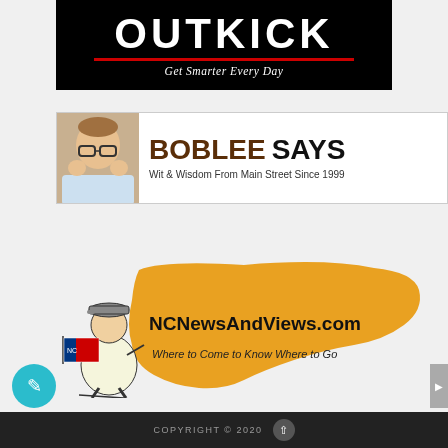[Figure (logo): OutKick logo banner on black background with tagline 'Get Smarter Every Day']
[Figure (logo): BobLee Says banner with man's photo, text 'BOBLEE SAYS Wit & Wisdom From Main Street Since 1999']
[Figure (logo): NCNewsAndViews.com logo with NC state shape in orange, newsboy illustration, text 'Where to Come to Know Where to Go']
COPYRIGHT © 2020